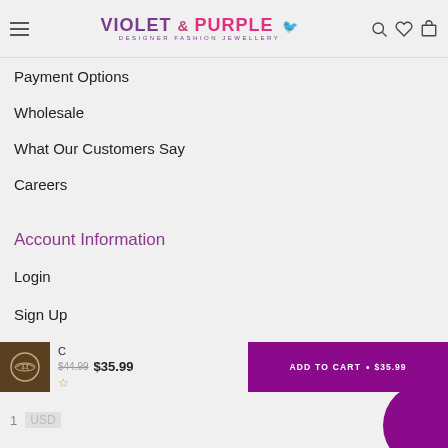Violet & Purple - Designer Fashion Jewellery
Payment Options
Wholesale
What Our Customers Say
Careers
Account Information
Login
Sign Up
My Wishlist
C
$44.99 $35.99
ADD TO CART • $35.99
1  USD  Order